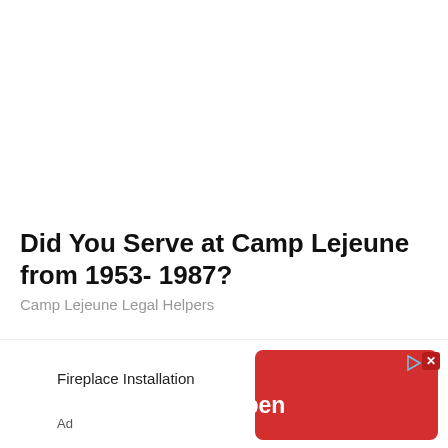Did You Serve at Camp Lejeune from 1953- 1987?
Camp Lejeune Legal Helpers
[Figure (other): Advertisement banner at bottom of page showing 'Fireplace Installation' text with a red 'Open' button with play and close icons]